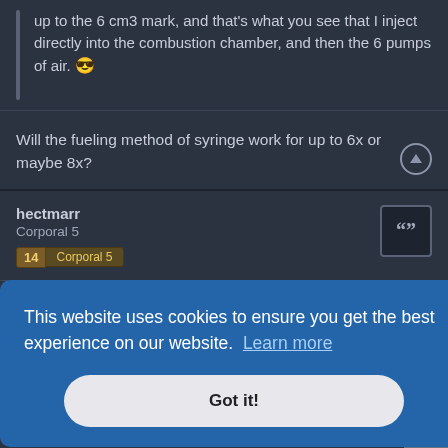up to the 6 cm3 mark, and that's what you see that I inject directly into the combustion chamber, and then the 6 pumps of air. 😎
Will the fueling method of syringe work for up to 6x or maybe 8x?
hectmarr
Corporal 5
14 Corporal 5
This website uses cookies to ensure you get the best experience on our website. Learn more
Got it!
If in the gun in the video I use 30 bar, the amount of air is 30